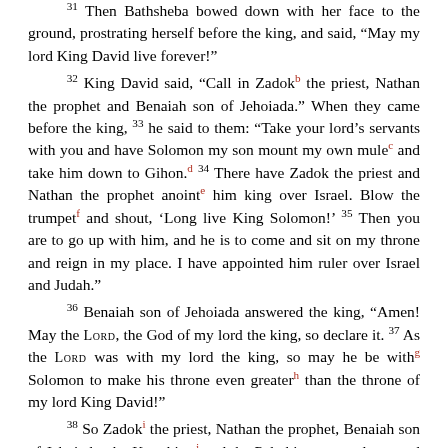31 Then Bathsheba bowed down with her face to the ground, prostrating herself before the king, and said, “May my lord King David live forever!”
32 King David said, “Call in Zadok[b] the priest, Nathan the prophet and Benaiah son of Jehoiada.” When they came before the king, 33 he said to them: “Take your lord’s servants with you and have Solomon my son mount my own mule[c] and take him down to Gihon.[d] 34 There have Zadok the priest and Nathan the prophet anoint[e] him king over Israel. Blow the trumpet[f] and shout, ‘Long live King Solomon!’ 35 Then you are to go up with him, and he is to come and sit on my throne and reign in my place. I have appointed him ruler over Israel and Judah.”
36 Benaiah son of Jehoiada answered the king, “Amen! May the LORD, the God of my lord the king, so declare it. 37 As the LORD was with my lord the king, so may he be with[g] Solomon to make his throne even greater[h] than the throne of my lord King David!”
38 So Zadok[i] the priest, Nathan the prophet, Benaiah son of Jehoiada, the Kerethites[j] and the Pelethites, went down and had...